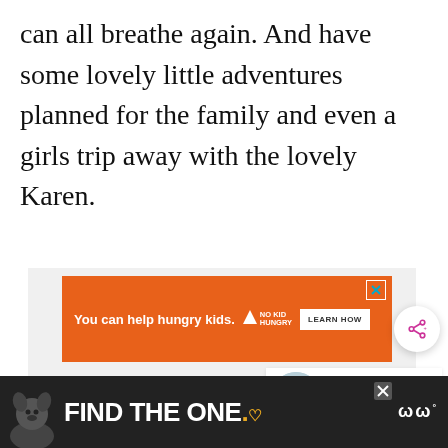can all breathe again. And have some lovely little adventures planned for the family and even a girls trip away with the lovely Karen.
[Figure (screenshot): Orange advertisement banner: 'You can help hungry kids.' with No Kid Hungry logo and a 'LEARN HOW' button. Has a close (X) button in top right corner.]
[Figure (screenshot): Share button (circular white button with share icon) overlaying a light gray content area.]
[Figure (screenshot): WHAT'S NEXT navigation element with a circular thumbnail image and text 'How To Make Cricut Joy...']
[Figure (screenshot): Bottom advertisement banner with dark background, dog illustration, text 'FIND THE ONE.' with a heart symbol, and a brand logo on the right. Has a close button.]